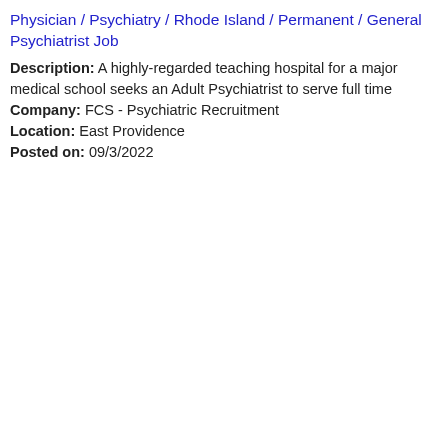Physician / Psychiatry / Rhode Island / Permanent / General Psychiatrist Job
Description: A highly-regarded teaching hospital for a major medical school seeks an Adult Psychiatrist to serve full time
Company: FCS - Psychiatric Recruitment
Location: East Providence
Posted on: 09/3/2022